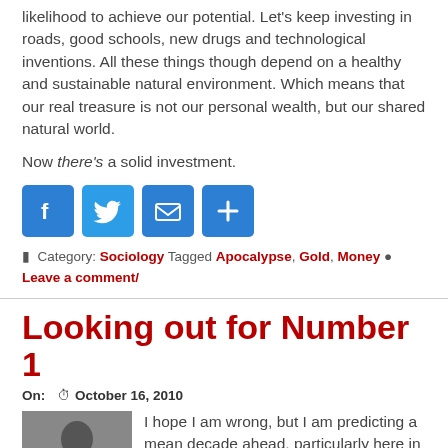likelihood to achieve our potential. Let's keep investing in roads, good schools, new drugs and technological inventions. All these things though depend on a healthy and sustainable natural environment. Which means that our real treasure is not our personal wealth, but our shared natural world.
Now there's a solid investment.
[Figure (other): Social share buttons: Facebook, Twitter, Email, Share]
Category: Sociology Tagged Apocalypse, Gold, Money Leave a comment/
Looking out for Number 1
On: October 16, 2010
[Figure (photo): Black and white photo of The Thinker sculpture]
I hope I am wrong, but I am predicting a mean decade ahead, particularly here in the United States. Americans may be voting their bum out of office on November 2nd, hoping for real change or genuine bipartisanship, but at least through 2012